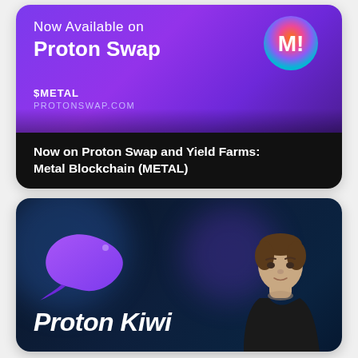[Figure (infographic): Promotional card for Metal Blockchain (METAL) token now available on Proton Swap. Top half has purple gradient background with 'Now Available on Proton Swap' text and a colorful M! logo badge. Bottom half is black with text 'Now on Proton Swap and Yield Farms: Metal Blockchain (METAL)'. Includes $METAL ticker and PROTONSWAP.COM URL.]
[Figure (infographic): Promotional card for Proton Kiwi featuring dark navy blue background, a purple Kiwi bird logo on the left, 'Proton Kiwi' text in bold italic white at the bottom, and a young man's photo on the right side.]